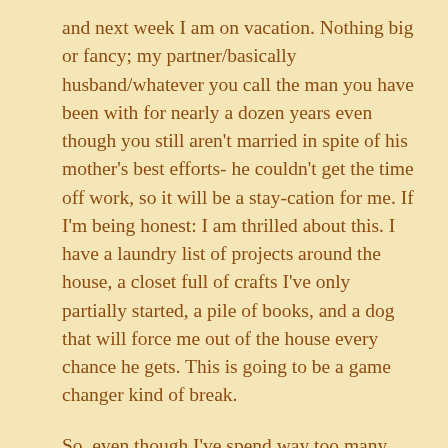and next week I am on vacation. Nothing big or fancy; my partner/basically husband/whatever you call the man you have been with for nearly a dozen years even though you still aren't married in spite of his mother's best efforts- he couldn't get the time off work, so it will be a stay-cation for me. If I'm being honest: I am thrilled about this. I have a laundry list of projects around the house, a closet full of crafts I've only partially started, a pile of books, and a dog that will force me out of the house every chance he gets. This is going to be a game changer kind of break.

So, even though I've spend way too many extra hours on work than I would like, I'm about to strike a slightly better balance in the next few weeks. It's going to be a far more manageable routine. I'm working on getting